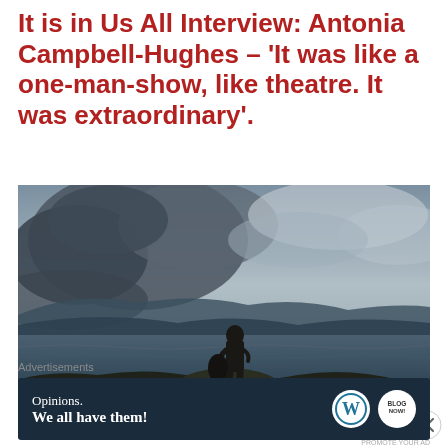It is in Us All Interview: Antonia Campbell-Hughes – 'It was like a one-man-show, like theatre. It was extraordinary'.
[Figure (photo): Silhouette of a person standing on rocks by a coastal seascape, holding something, with distant mountains and a dramatic cloudy sky in the background. Dark, moody atmospheric photograph.]
Advertisements
[Figure (infographic): Advertisement banner: dark navy background. Text reads 'Opinions. We all have them!' with WordPress logo (W in circle) and another circular logo on the right.]